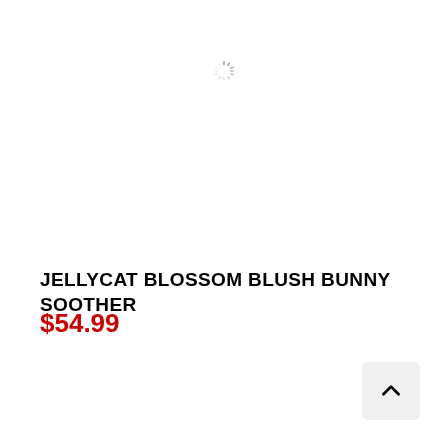[Figure (other): Loading spinner icon centered near the top of the page]
JELLYCAT BLOSSOM BLUSH BUNNY SOOTHER
$54.99
[Figure (other): Back to top button arrow in bottom right corner]